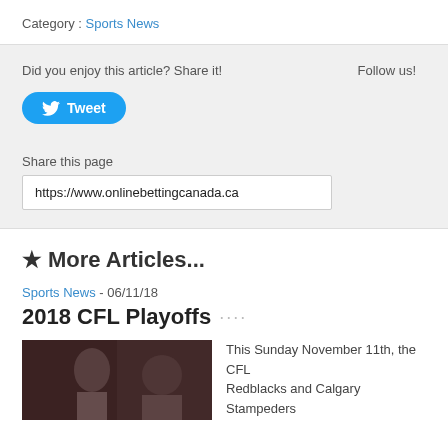Category : Sports News
Did you enjoy this article? Share it!
Follow us!
[Figure (other): Tweet button with Twitter bird icon]
Share this page
https://www.onlinebettingcanada.ca
★ More Articles...
Sports News - 06/11/18
2018 CFL Playoffs ····
[Figure (photo): Football player photo]
This Sunday November 11th, the CFL Redblacks and Calgary Stampeders